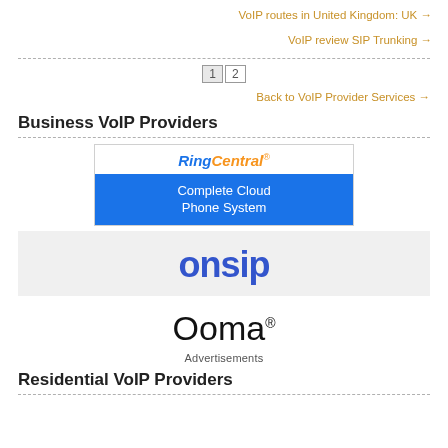VoIP routes in United Kingdom: UK →
VoIP review SIP Trunking →
1  2
Back to VoIP Provider Services →
Business VoIP Providers
[Figure (logo): RingCentral logo with text 'Complete Cloud Phone System' on blue background]
[Figure (logo): OnSIP logo on grey background]
[Figure (logo): Ooma logo]
Advertisements
Residential VoIP Providers